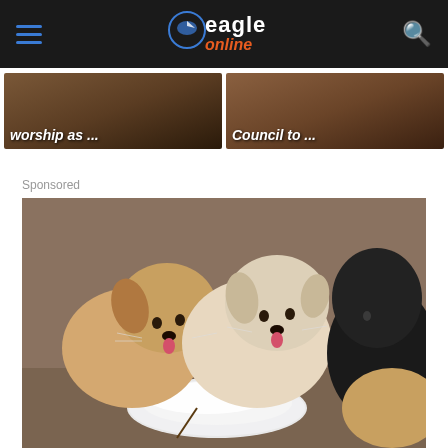Eagle Online
[Figure (photo): Two article thumbnail cards side by side with captions 'worship as ...' and 'Council to ...']
Sponsored
[Figure (photo): Puppies eating from a white plate outdoors — two fluffy light-colored puppies and one black puppy licking white food from a dish]